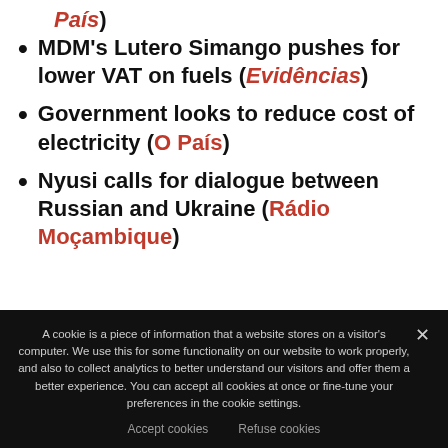País)
MDM's Lutero Simango pushes for lower VAT on fuels (Evidências)
Government looks to reduce cost of electricity (O País)
Nyusi calls for dialogue between Russian and Ukraine (Rádio Moçambique)
A cookie is a piece of information that a website stores on a visitor's computer. We use this for some functionality on our website to work properly, and also to collect analytics to better understand our visitors and offer them a better experience. You can accept all cookies at once or fine-tune your preferences in the cookie settings.
Accept cookies   Refuse cookies